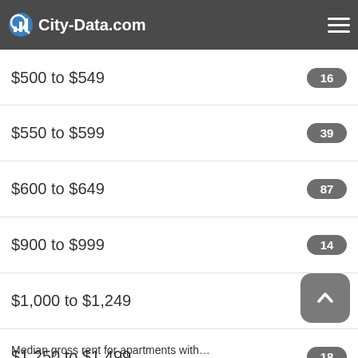City-Data.com
$350 to $399 — 25
$450 to $499 — 27
$500 to $549 — 16
$550 to $599 — 39
$600 to $649 — 87
$900 to $999 — 14
$1,000 to $1,249 — 68
$1,250 to $1,499 — 18
No cash rent — 29
Median gross rent in 2019: $849.
Median gross rent for apartments with…